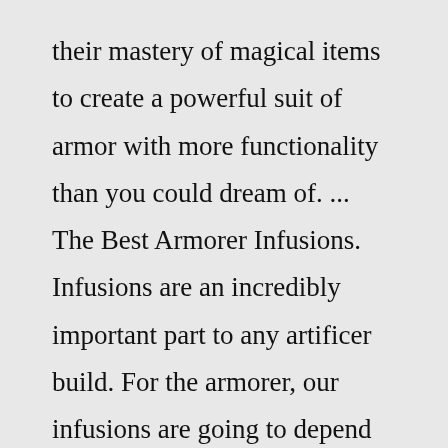their mastery of magical items to create a powerful suit of armor with more functionality than you could dream of. ... The Best Armorer Infusions. Infusions are an incredibly important part to any artificer build. For the armorer, our infusions are going to depend greatly on our playstyle. Quite ...The Armorer's Handbook is a complete equipment upgrade ruleset enabling weapons and armor to grow along